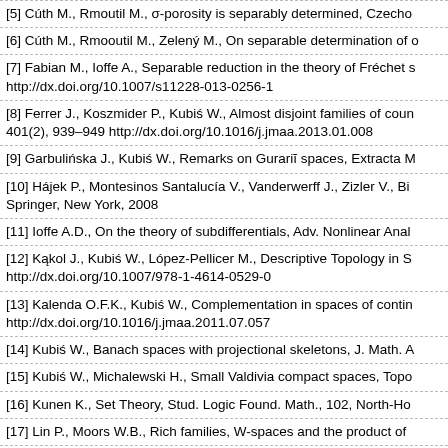[5] Cúth M., Rmoutil M., σ-porosity is separably determined, Czecho
[6] Cúth M., Rmooutil M., Zelený M., On separable determination of o
[7] Fabian M., Ioffe A., Separable reduction in the theory of Fréchet s http://dx.doi.org/10.1007/s11228-013-0256-1
[8] Ferrer J., Koszmider P., Kubiś W., Almost disjoint families of coun 401(2), 939–949 http://dx.doi.org/10.1016/j.jmaa.2013.01.008
[9] Garbulińska J., Kubiś W., Remarks on Gurariĭ spaces, Extracta M
[10] Hájek P., Montesinos Santalucía V., Vanderwerff J., Zizler V., Bi Springer, New York, 2008
[11] Ioffe A.D., On the theory of subdifferentials, Adv. Nonlinear Anal
[12] Kąkol J., Kubiś W., López-Pellicer M., Descriptive Topology in S http://dx.doi.org/10.1007/978-1-4614-0529-0
[13] Kalenda O.F.K., Kubiś W., Complementation in spaces of contin http://dx.doi.org/10.1016/j.jmaa.2011.07.057
[14] Kubiś W., Banach spaces with projectional skeletons, J. Math. A
[15] Kubiś W., Michalewski H., Small Valdivia compact spaces, Topo
[16] Kunen K., Set Theory, Stud. Logic Found. Math., 102, North-Ho
[17] Lin P., Moors W.B., Rich families, W-spaces and the product of
[18] Lindenstrauss J., Preiss D., Tišer J., Fréchet Differentiability of L Princeton University Press, Princeton, 2012
[19] Moors W.B., Spurný J., On the topology of pointwise convergen 1429 http://dx.doi.org/10.1090/S0002-9939-08-09708-6